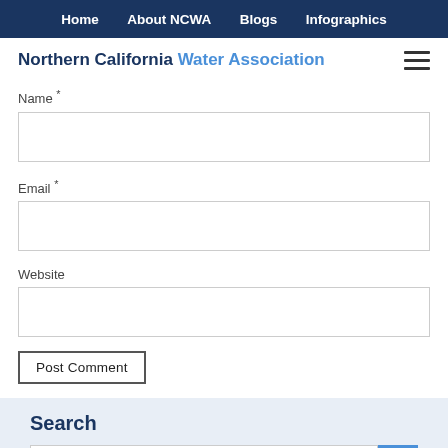Home   About NCWA   Blogs   Infographics
Northern California Water Association
Name *
Email *
Website
Post Comment
Search